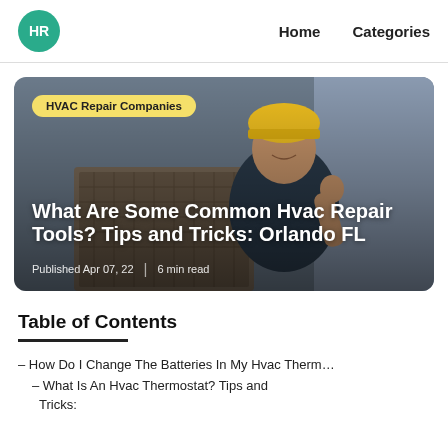HR  Home  Categories
[Figure (photo): HVAC technician in yellow hard hat kneeling next to an outdoor HVAC unit, giving thumbs up. Overlaid with category tag 'HVAC Repair Companies', article title 'What Are Some Common Hvac Repair Tools? Tips and Tricks: Orlando FL', and metadata 'Published Apr 07, 22 | 6 min read'.]
Table of Contents
– How Do I Change The Batteries In My Hvac Therm…
– What Is An Hvac Thermostat? Tips and Tricks: